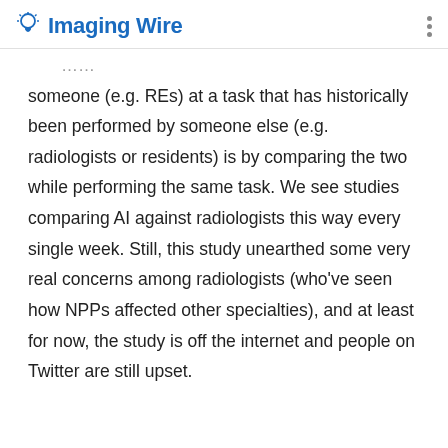Imaging Wire
someone (e.g. REs) at a task that has historically been performed by someone else (e.g. radiologists or residents) is by comparing the two while performing the same task. We see studies comparing AI against radiologists this way every single week. Still, this study unearthed some very real concerns among radiologists (who've seen how NPPs affected other specialties), and at least for now, the study is off the internet and people on Twitter are still upset.